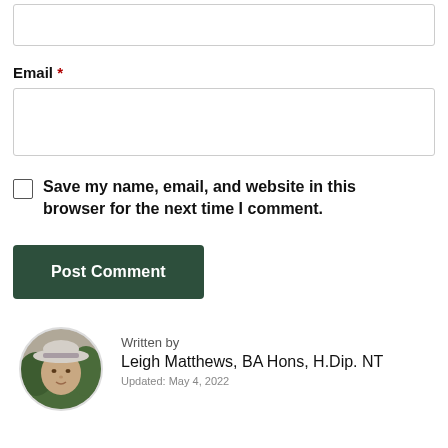[Figure (screenshot): Partial text input field at top of page (empty, with border)]
Email *
[Figure (screenshot): Email input field (empty, with border)]
Save my name, email, and website in this browser for the next time I comment.
[Figure (screenshot): Post Comment button, dark green background, white text]
[Figure (photo): Circular profile photo of Leigh Matthews wearing a hat, outdoors]
Written by
Leigh Matthews, BA Hons, H.Dip. NT
Updated: May 4, 2022